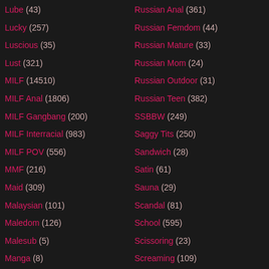Lube (43)
Lucky (257)
Luscious (35)
Lust (321)
MILF (14510)
MILF Anal (1806)
MILF Gangbang (200)
MILF Interracial (983)
MILF POV (556)
MMF (216)
Maid (309)
Malaysian (101)
Maledom (126)
Malesub (5)
Manga (8)
Married (177)
Russian Anal (361)
Russian Femdom (44)
Russian Mature (33)
Russian Mom (24)
Russian Outdoor (31)
Russian Teen (382)
SSBBW (249)
Saggy Tits (250)
Sandwich (28)
Satin (61)
Sauna (29)
Scandal (81)
School (595)
Scissoring (23)
Screaming (109)
Secretary (179)